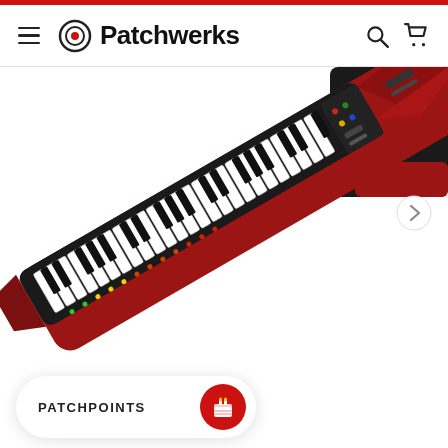Patchwerks
[Figure (photo): A red keytar (keyboard guitar) instrument shown at an angle, with piano keys visible, against a white background. A partial view of the instrument's back/connector area is visible in the upper right corner.]
PATCHPOINTS